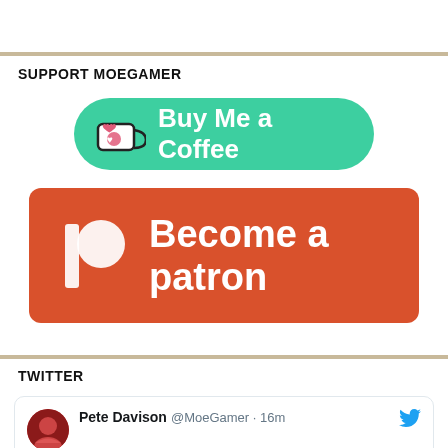SUPPORT MOEGAMER
[Figure (logo): Buy Me a Coffee button — green rounded rectangle with coffee cup icon and text 'Buy Me a Coffee']
[Figure (logo): Patreon button — orange-red rounded rectangle with Patreon logo icon and text 'Become a patron']
TWITTER
Pete Davison @MoeGamer · 16m